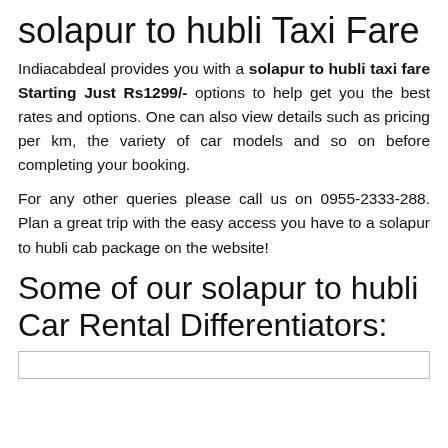solapur to hubli Taxi Fare
Indiacabdeal provides you with a solapur to hubli taxi fare Starting Just Rs1299/- options to help get you the best rates and options. One can also view details such as pricing per km, the variety of car models and so on before completing your booking.
For any other queries please call us on 0955-2333-288. Plan a great trip with the easy access you have to a solapur to hubli cab package on the website!
Some of our solapur to hubli Car Rental Differentiators: